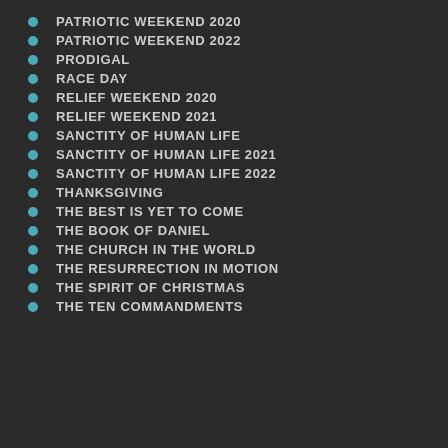PATRIOTIC WEEKEND 2020
PATRIOTIC WEEKEND 2022
PRODIGAL
RACE DAY
RELIEF WEEKEND 2020
RELIEF WEEKEND 2021
SANCTITY OF HUMAN LIFE
SANCTITY OF HUMAN LIFE 2021
SANCTITY OF HUMAN LIFE 2022
THANKSGIVING
THE BEST IS YET TO COME
THE BOOK OF DANIEL
THE CHURCH IN THE WORLD
THE RESURRECTION IN MOTION
THE SPIRIT OF CHRISTMAS
THE TEN COMMANDMENTS